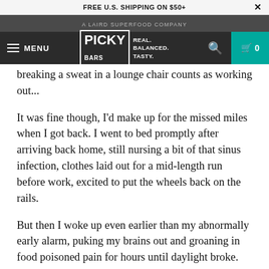FREE U.S. SHIPPING ON $50+
A LAIRD SUPERFOOD COMPANY
MENU | PICKY BARS | REAL. BALANCED. TASTY. | 0
breaking a sweat in a lounge chair counts as working out...
It was fine though, I'd make up for the missed miles when I got back. I went to bed promptly after arriving back home, still nursing a bit of that sinus infection, clothes laid out for a mid-length run before work, excited to put the wheels back on the rails.
But then I woke up even earlier than my abnormally early alarm, puking my brains out and groaning in food poisoned pain for hours until daylight broke. When it rains, it pours, as they say.
By the time I was able to move around normally again without fearing bodily fluids would uninvitedly escape